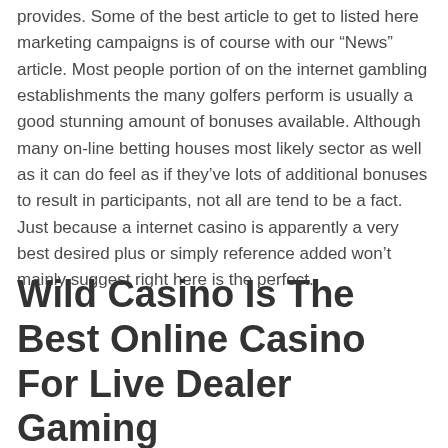provides. Some of the best article to get to listed here marketing campaigns is of course with our “News” article. Most people portion of on the internet gambling establishments the many golfers perform is usually a good stunning amount of bonuses available. Although many on-line betting houses most likely sector as well as it can do feel as if they’ve lots of additional bonuses to result in participants, not all are tend to be a fact. Just because a internet casino is apparently a very best desired plus or simply reference added won’t mainly suggest right here is the perfect.
Wild Casino Is The Best Online Casino For Live Dealer Gaming